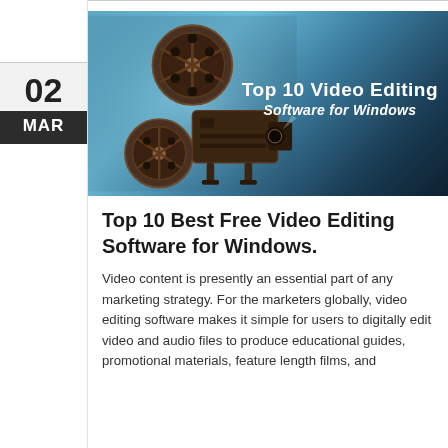[Figure (photo): A vintage film projector on a blue-teal smoky background with overlaid white bold text reading 'Top 10 Video Editing Software for Windows']
Top 10 Best Free Video Editing Software for Windows.
Video content is presently an essential part of any marketing strategy. For the marketers globally, video editing software makes it simple for users to digitally edit video and audio files to produce educational guides, promotional materials, feature length films, and